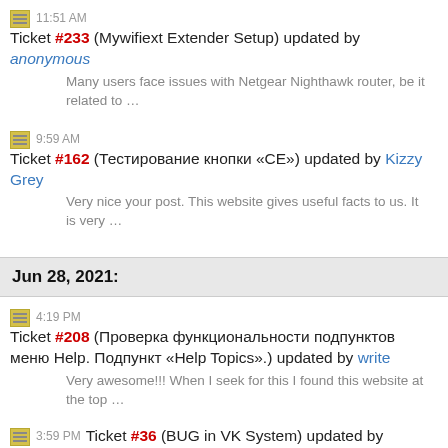11:51 AM Ticket #233 (Mywifiext Extender Setup) updated by anonymous
Many users face issues with Netgear Nighthawk router, be it related to …
9:59 AM Ticket #162 (Тестирование кнопки «CE») updated by Kizzy Grey
Very nice your post. This website gives useful facts to us. It is very …
Jun 28, 2021:
4:19 PM Ticket #208 (Проверка функциональности подпунктов меню Help. Подпункт «Help Topics».) updated by write
Very awesome!!! When I seek for this I found this website at the top …
3:59 PM Ticket #36 (BUG in VK System) updated by Garfield Vladd
Gmail not working When your email stops working or gets